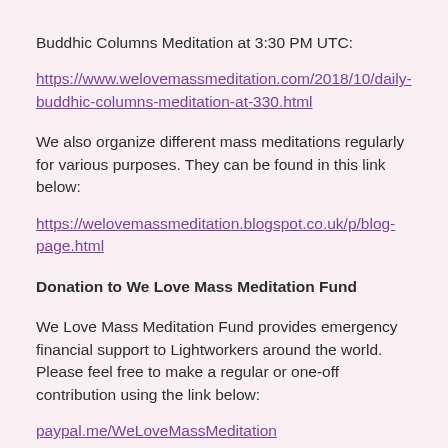Buddhic Columns Meditation at 3:30 PM UTC:
https://www.welovemassmeditation.com/2018/10/daily-buddhic-columns-meditation-at-330.html
We also organize different mass meditations regularly for various purposes. They can be found in this link below:
https://welovemassmeditation.blogspot.co.uk/p/blog-page.html
Donation to We Love Mass Meditation Fund
We Love Mass Meditation Fund provides emergency financial support to Lightworkers around the world. Please feel free to make a regular or one-off contribution using the link below:
paypal.me/WeLoveMassMeditation